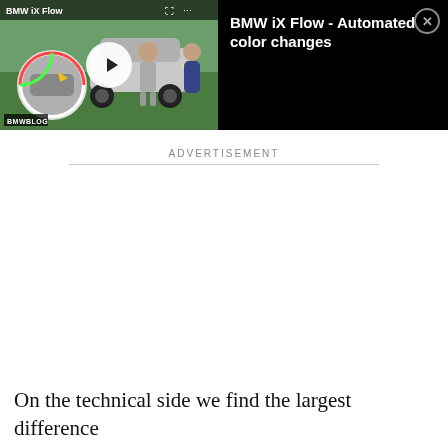[Figure (screenshot): Embedded video player bar showing BMW iX Flow color-changing car video thumbnail on left with play button, and video title 'BMW iX Flow - Automated color changes' on black background on right, with a close (X) button.]
ADVERTISEMENT
On the technical side we find the largest difference